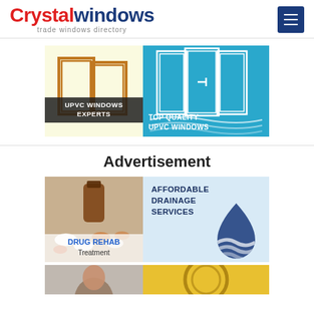[Figure (logo): Crystal Windows logo - red 'Crystal' and dark blue 'windows' with 'trade windows directory' subtitle]
[Figure (screenshot): Navigation menu hamburger button - dark blue square with three white horizontal lines]
[Figure (illustration): UPVC Windows Experts banner - yellow background with orange outlined open window frame and dark label 'UPVC WINDOWS EXPERTS']
[Figure (illustration): Top Quality UPVC Windows banner - blue background with white outlined window/door frames and text 'TOP QUALITY UPVC WINDOWS']
Advertisement
[Figure (photo): Drug Rehab Treatment ad - photo of pill bottles and tablets with blue text 'DRUG REHAB Treatment']
[Figure (illustration): Affordable Drainage Services ad - light blue background with dark blue water drop logo and text 'AFFORDABLE DRAINAGE SERVICES']
[Figure (photo): Partial bottom-left ad showing person's head]
[Figure (illustration): Partial bottom-right ad with yellow/gold background showing circular element]